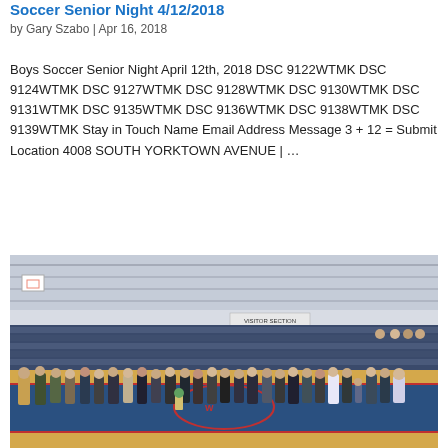Soccer Senior Night 4/12/2018
by Gary Szabo | Apr 16, 2018
Boys Soccer Senior Night April 12th, 2018 DSC 9122WTMK DSC 9124WTMK DSC 9127WTMK DSC 9128WTMK DSC 9130WTMK DSC 9131WTMK DSC 9135WTMK DSC 9136WTMK DSC 9138WTMK DSC 9139WTMK Stay in Touch Name Email Address Message 3 + 12 = Submit Location 4008 SOUTH YORKTOWN AVENUE | ...
[Figure (photo): Group of people standing on an indoor gym floor during a soccer senior night ceremony. Basketball court/wrestling mat visible, bleachers in background with a sign reading VISITOR SECTION.]